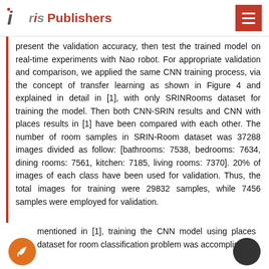Iris Publishers
present the validation accuracy, then test the trained model on real-time experiments with Nao robot. For appropriate validation and comparison, we applied the same CNN training process, via the concept of transfer learning as shown in Figure 4 and explained in detail in [1], with only SRINRooms dataset for training the model. Then both CNN-SRIN results and CNN with places results in [1] have been compared with each other. The number of room samples in SRIN-Room dataset was 37288 images divided as follow: [bathrooms: 7538, bedrooms: 7634, dining rooms: 7561, kitchen: 7185, living rooms: 7370]. 20% of images of each class have been used for validation. Thus, the total images for training were 29832 samples, while 7456 samples were employed for validation.
mentioned in [1], training the CNN model using places dataset for room classification problem was accomplished